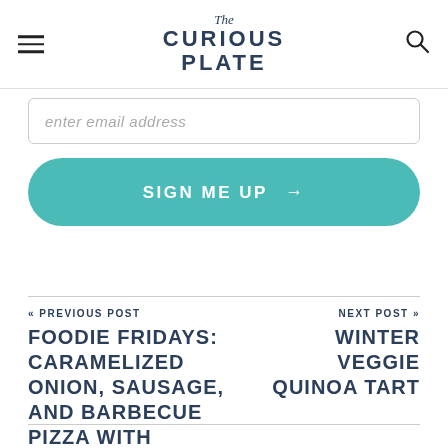The Curious Plate
enter email address
SIGN ME UP →
« PREVIOUS POST
FOODIE FRIDAYS: CARAMELIZED ONION, SAUSAGE, AND BARBECUE PIZZA WITH RANCH DRESSING
NEXT POST »
WINTER VEGGIE QUINOA TART